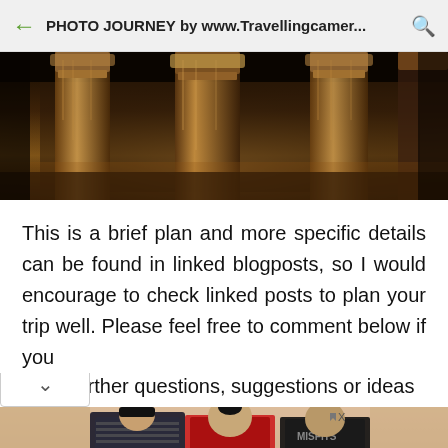PHOTO JOURNEY by www.Travellingcamer...
[Figure (photo): Dark interior of an ancient temple or historical site with ornate stone columns, lit with warm amber/golden light from below]
This is a brief plan and more specific details can be found in linked blogposts, so I would encourage to check linked posts to plan your trip well. Please feel free to comment below if you have further questions, suggestions or ideas
[Figure (photo): Advertisement banner for FIT X HOT TOPIC showing three young people in fashionable clothing with a SHOP NOW button]